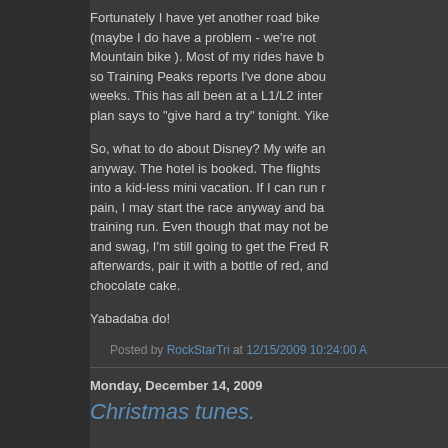Fortunately I have yet another road bike (maybe I do have a problem - we're not Mountain bike ). Most of my rides have b so Training Peaks reports I've done abou weeks. This has all been at a L1/L2 inter plan says to "give hard a try" tonight. Yike
So, what to do about Disney? My wife an anyway. The hotel is booked. The flights into a kid-less mini vacation. If I can run pain, I may start the race anyway and ba training run. Even though that may not be and swag, I'm still going to get the Fred R afterwards, pair it with a bottle of red, an chocolate cake.
Yabadaba do!
Posted by RockStarTri at 12/15/2009 10:24:00 A
Monday, December 14, 2009
Christmas tunes.